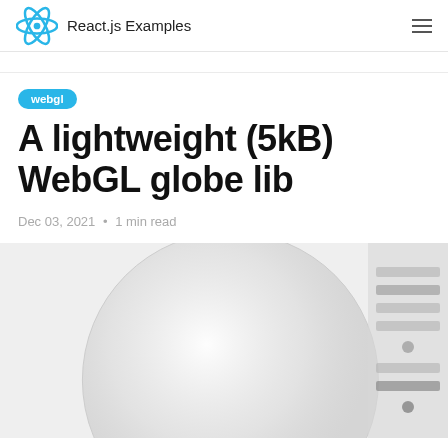React.js Examples
webgl
A lightweight (5kB) WebGL globe lib
Dec 03, 2021  •  1 min read
[Figure (screenshot): A WebGL 3D globe rendered in a browser, shown as a large gray sphere on a light gray background, with a control panel on the right side.]